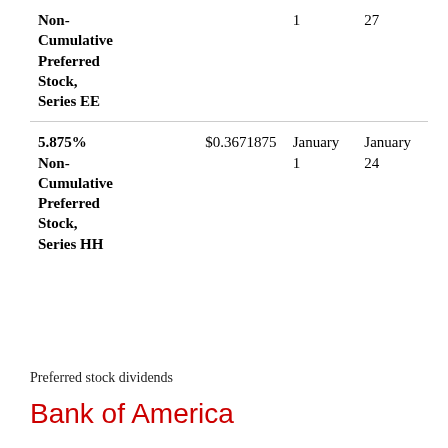| Non-Cumulative Preferred Stock, Series EE |  | 1 | 27 |
| 5.875% Non-Cumulative Preferred Stock, Series HH | $0.3671875 | January 1 | January 24 |
Preferred stock dividends
Bank of America